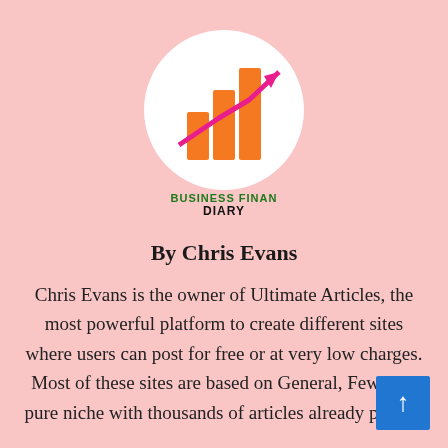[Figure (logo): Business Finance Diary logo: circular white badge with orange bar chart graphic and pink upward arrow, green text 'BUSINESS FINANCE' and bold black text 'DIARY']
By Chris Evans
Chris Evans is the owner of Ultimate Articles, the most powerful platform to create different sites where users can post for free or at very low charges. Most of these sites are based on General, Few on a pure niche with thousands of articles already posted.